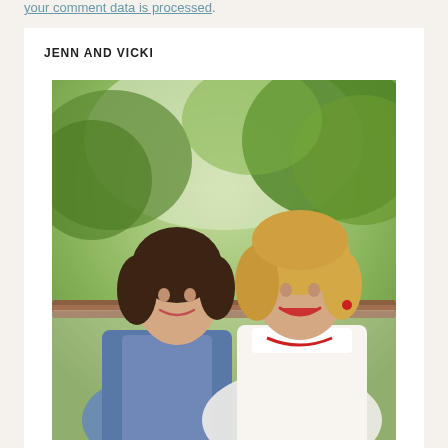your comment data is processed.
JENN AND VICKI
[Figure (photo): Photo of two women smiling outdoors with green trees in the background. The woman on the left has dark brown hair and is wearing a blue denim jacket. The woman on the right has blonde hair and is wearing a white blouse with red earrings and necklace.]